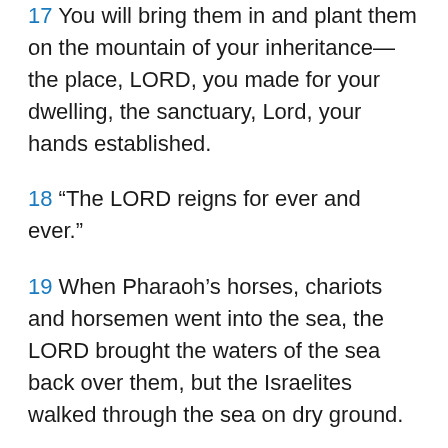17 You will bring them in and plant them on the mountain of your inheritance—the place, LORD, you made for your dwelling, the sanctuary, Lord, your hands established.
18 “The LORD reigns for ever and ever.”
19 When Pharaoh’s horses, chariots and horsemen went into the sea, the LORD brought the waters of the sea back over them, but the Israelites walked through the sea on dry ground.
20 Then Miriam the prophet, Aaron’s sister, took a timbrel in her hand, and all the women followed her with timbrels and